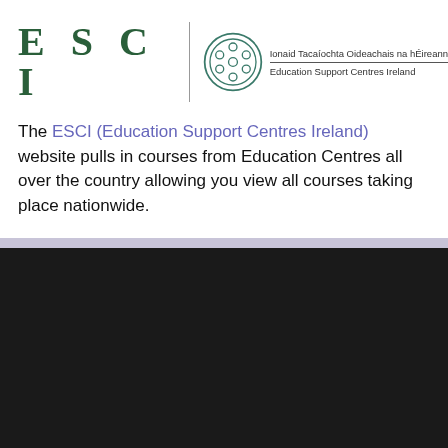[Figure (logo): ESCI logo with circular emblem and organization name in Irish and English: Ionaid Tacaíochta Oideachais na hÉireann / Education Support Centres Ireland]
The ESCI (Education Support Centres Ireland) website pulls in courses from Education Centres all over the country allowing you view all courses taking place nationwide.
This website uses cookies to ensure you get the best experience on our website. Cookie policy
Privacy policy
Decline
Allow all cookies
Cookie settings:
☑ Necessary | ☐ Preferences | ☐ Statistics |
Allow cookies